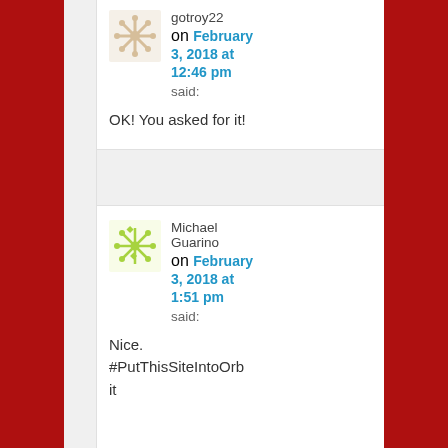[Figure (illustration): Avatar image for gotroy22 - decorative snowflake/pattern avatar in tan/beige color]
gotroy22
on February 3, 2018 at 12:46 pm
said:
OK! You asked for it!
[Figure (illustration): Avatar image for Michael Guarino - decorative snowflake/pattern avatar in yellow-green color]
Michael Guarino
on February 3, 2018 at 1:51 pm
said:
Nice. #PutThisSiteIntoOrbit